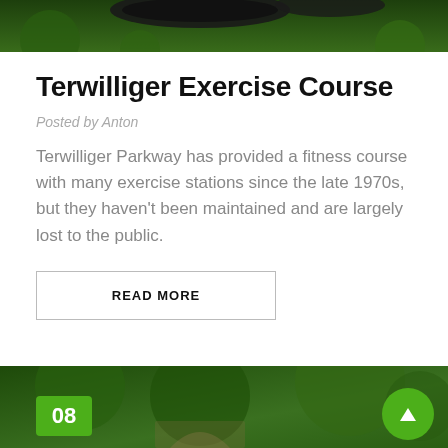[Figure (photo): Partial top image showing what appears to be dark exercise equipment against a green forested background]
Terwilliger Exercise Course
Posted by Anton
Terwilliger Parkway has provided a fitness course with many exercise stations since the late 1970s, but they haven't been maintained and are largely lost to the public.
READ MORE
[Figure (photo): Bottom partial image showing a green forested trail path, with a green badge showing '08' on the left and a green circle with an up arrow on the right]